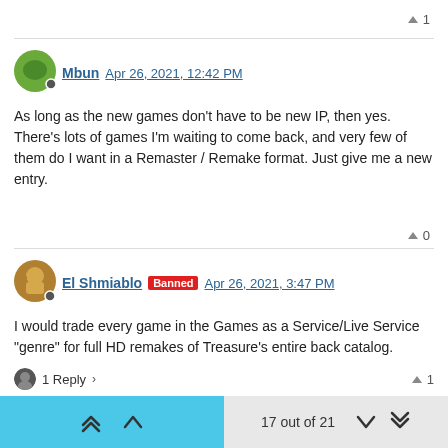▲ 1
Mbun Apr 26, 2021, 12:42 PM
As long as the new games don't have to be new IP, then yes. There's lots of games I'm waiting to come back, and very few of them do I want in a Remaster / Remake format. Just give me a new entry.
▲ 0
El Shmiablo Banned Apr 26, 2021, 3:47 PM
I would trade every game in the Games as a Service/Live Service "genre" for full HD remakes of Treasure's entire back catalog.
1 Reply > ▲ 1
DIPSET Apr 26, 2021, 3:59 PM
On the note of remakes and remasters: I wish sports games got
17 out of 21